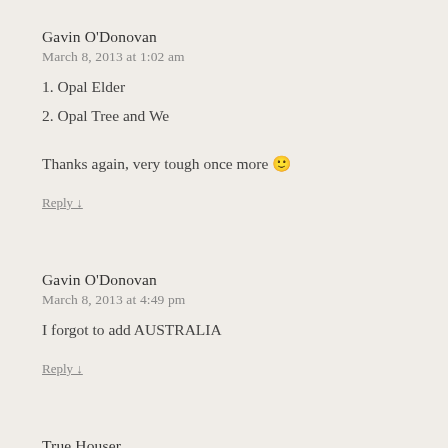Gavin O'Donovan
March 8, 2013 at 1:02 am
1. Opal Elder
2. Opal Tree and We
Thanks again, very tough once more 🙂
Reply ↓
Gavin O'Donovan
March 8, 2013 at 4:49 pm
I forgot to add AUSTRALIA
Reply ↓
True Houser
March 8, 2013 at 1:14 am
1. Tomahawk
Thanks!